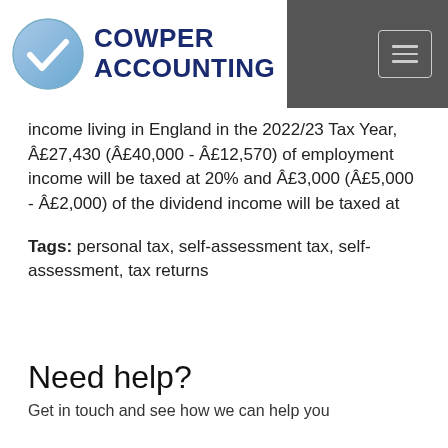COWPER ACCOUNTING
income living in England in the 2022/23 Tax Year, Â£27,430 (Â£40,000 - Â£12,570) of employment income will be taxed at 20% and Â£3,000 (Â£5,000 - Â£2,000) of the dividend income will be taxed at
Tags: personal tax, self-assessment tax, self-assessment, tax returns
Need help?
Get in touch and see how we can help you